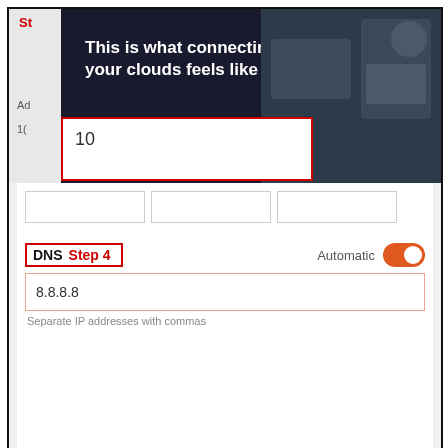[Figure (screenshot): Screenshot of a web UI showing an advertisement banner 'This is what connecting your clouds feels like' with a 'See more' button, overlaid on a network settings page. Below the ad, a DNS configuration section labeled 'Step 4' is shown with an input field containing '8.8.8.8', an 'Automatic' toggle switch set to on (orange), and hint text 'Separate IP addresses with commas'.]